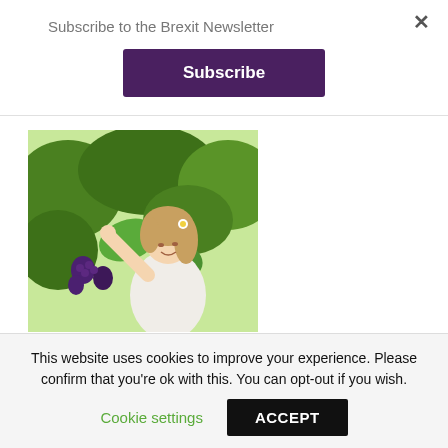Subscribe to the Brexit Newsletter
Subscribe
[Figure (photo): Woman smiling while picking grapes in a vineyard, wearing a white top and flower in hair]
Tried and Supplied founder on how the food industry can prep for Brexit
October 22, 2019
This website uses cookies to improve your experience. Please confirm that you're ok with this. You can opt-out if you wish.
Cookie settings
ACCEPT